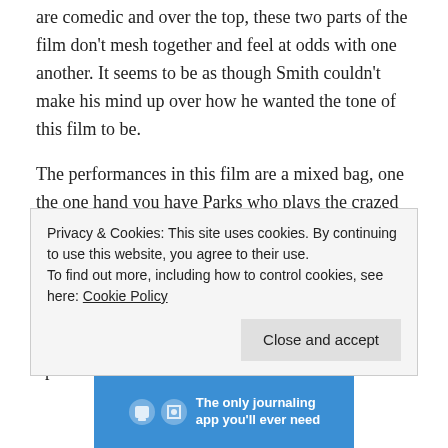are comedic and over the top, these two parts of the film don't mesh together and feel at odds with one another. It seems to be as though Smith couldn't make his mind up over how he wanted the tone of this film to be.
The performances in this film are a mixed bag, one the one hand you have Parks who plays the crazed walrus fanatic superbly; he is menacing and threatening whenever he is on screen. However, Long is not a convincing hero, his Wallace is deeply unlikable (before you even find out how bad he is towards his girlfriend), from the moment he opens his mouth he is irritating. As
Privacy & Cookies: This site uses cookies. By continuing to use this website, you agree to their use.
To find out more, including how to control cookies, see here: Cookie Policy
Close and accept
[Figure (infographic): Blue advertisement banner at the bottom of the page with icons and text reading 'The only journaling app you'll ever need']